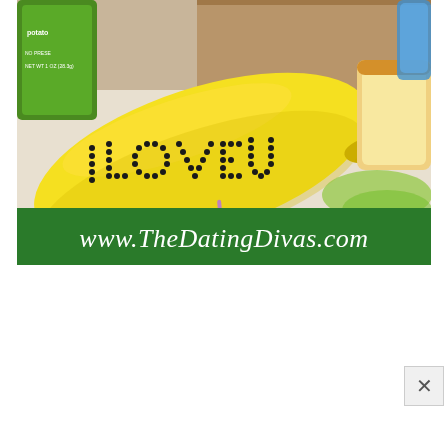[Figure (photo): A yellow banana with 'I LOVE U' written on its skin using dot/pinhole letters, placed on a white surface next to a bag of potato chips (green packaging, labelled NO PRESERVATIVES, NET WT 1 OZ 28.3g), a piece of bread, lettuce, and a blue water bottle in the background. The bottom portion of the photo has a green banner overlay reading www.TheDatingDivas.com.]
www.TheDatingDivas.com